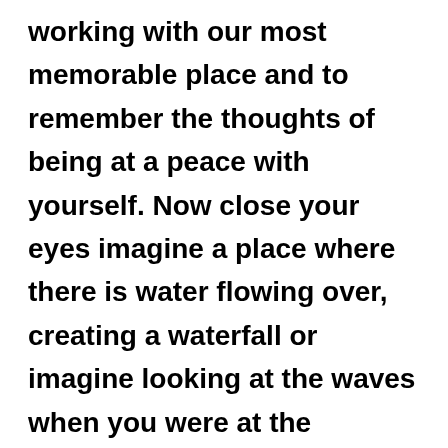working with our most memorable place and to remember the thoughts of being at a peace with yourself. Now close your eyes imagine a place where there is water flowing over, creating a waterfall or imagine looking at the waves when you were at the seaside.  Enjoy the experience of the movement,  the sound of water, the fresh smell of the air and now connect to your breath, gradually